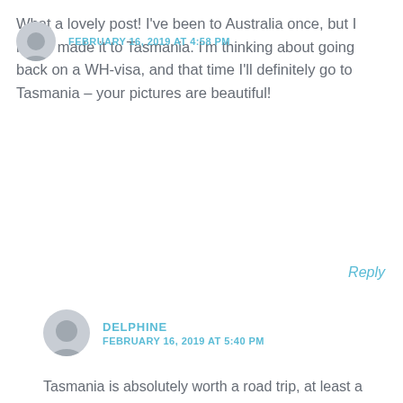FEBRUARY 16, 2019 AT 4:58 PM
What a lovely post! I've been to Australia once, but I never made it to Tasmania. I'm thinking about going back on a WH-visa, and that time I'll definitely go to Tasmania – your pictures are beautiful!
Reply
DELPHINE
FEBRUARY 16, 2019 AT 5:40 PM
Tasmania is absolutely worth a road trip, at least a couple of weeks… I've broken down my visits on different trips over the years, and my last trip was two weeks driving around, it was the best! If you make it to Australia again, I highly recommend you make a priority of